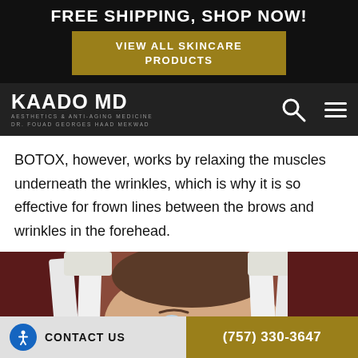FREE SHIPPING, SHOP NOW!
VIEW ALL SKINCARE PRODUCTS
[Figure (logo): KAADO MD logo with tagline: AESTHETICS & ANTI-AGING MEDICINE, DR. FOUAD GEORGES HAAD MEKWAD]
BOTOX, however, works by relaxing the muscles underneath the wrinkles, which is why it is so effective for frown lines between the brows and wrinkles in the forehead.
[Figure (photo): A woman lying down with white towel strips across her face, receiving a facial treatment. She is wearing gloves and a dark top.]
CONTACT US  (757) 330-3647